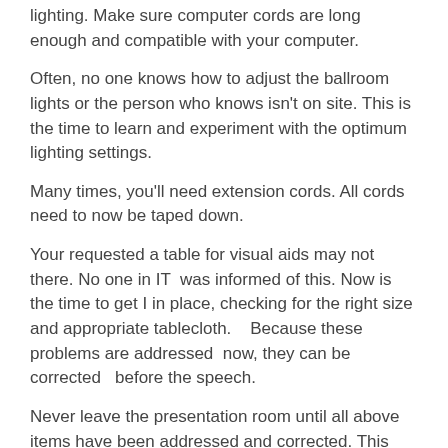lighting.  Make sure computer cords are long enough and compatible with your computer.
Often, no one knows how to adjust the ballroom lights or the person who knows isn't on site.  This is the time to learn and experiment with the optimum lighting settings.
Many times, you'll need extension cords.  All cords need to now be taped down.
Your requested a table for visual aids may not there.  No one in IT  was informed of this.  Now is the time to get I in place, checking for the right size and appropriate tablecloth.    Because these problems are addressed  now, they can be corrected   before the speech.
Never leave the presentation room until all above items have been addressed and corrected.  This usually takes between 60 to 90 minutes.
On  “speech day", arrive  90 minutes before the start time.